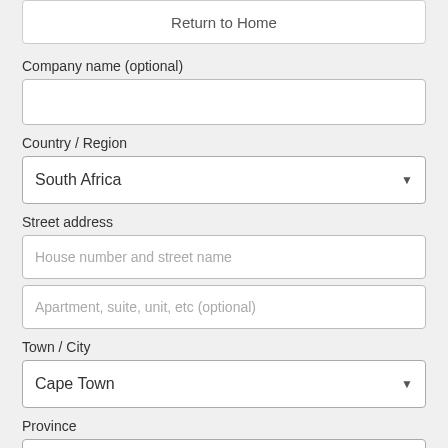Return to Home
Company name (optional)
Country / Region
South Africa
Street address
House number and street name
Apartment, suite, unit, etc (optional)
Town / City
Cape Town
Province
Select an option